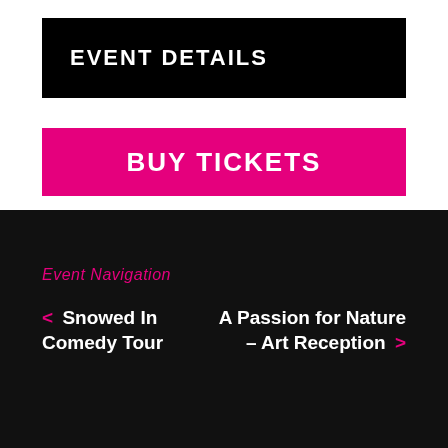EVENT DETAILS
BUY TICKETS
Event Navigation
< Snowed In Comedy Tour
A Passion for Nature – Art Reception >